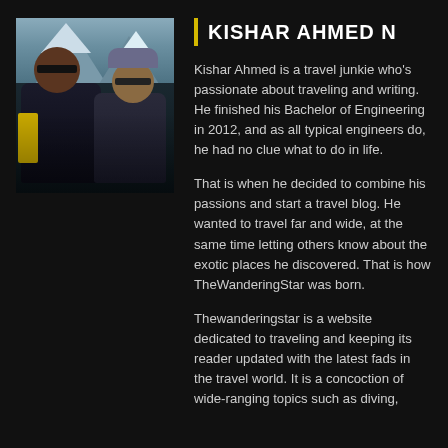[Figure (photo): Photo of two people outdoors in cold weather gear, smiling, with mountains in background]
KISHAR AHMED N
Kishar Ahmed is a travel junkie who's passionate about traveling and writing. He finished his Bachelor of Engineering in 2012, and as all typical engineers do, he had no clue what to do in life.
That is when he decided to combine his passions and start a travel blog. He wanted to travel far and wide, at the same time letting others know about the exotic places he discovered. That is how TheWanderingStar was born.
Thewanderingstar is a website dedicated to traveling and keeping its reader updated with the latest fads in the travel world. It is a concoction of wide-ranging topics such as diving,